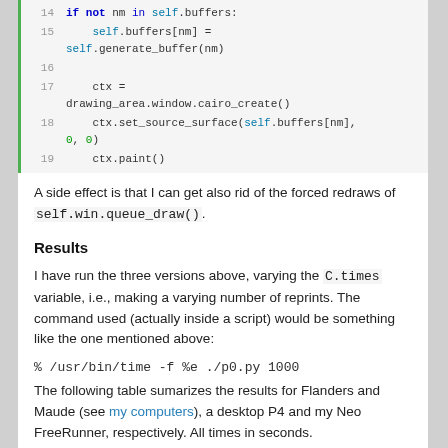[Figure (screenshot): Code block showing Python lines 14-19 with syntax highlighting. Line 14: if not nm in self.buffers:, Line 15: self.buffers[nm] = self.generate_buffer(nm), Line 16: (blank), Line 17: ctx = drawing_area.window.cairo_create(), Line 18: ctx.set_source_surface(self.buffers[nm], 0, 0), Line 19: ctx.paint()]
A side effect is that I can get also rid of the forced redraws of self.win.queue_draw().
Results
I have run the three versions above, varying the C.times variable, i.e., making a varying number of reprints. The command used (actually inside a script) would be something like the one mentioned above:
% /usr/bin/time -f %e ./p0.py 1000
The following table sumarizes the results for Flanders and Maude (see my computers), a desktop P4 and my Neo FreeRunner, respectively. All times in seconds.